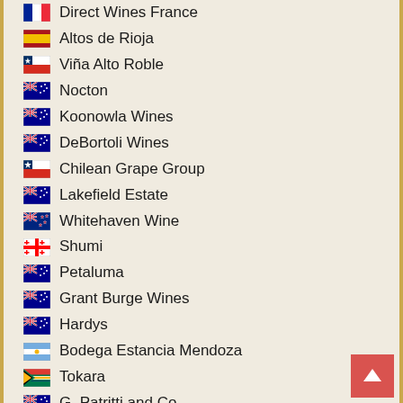Direct Wines France
Altos de Rioja
Viña Alto Roble
Nocton
Koonowla Wines
DeBortoli Wines
Chilean Grape Group
Lakefield Estate
Whitehaven Wine
Shumi
Petaluma
Grant Burge Wines
Hardys
Bodega Estancia Mendoza
Tokara
G. Patritti and Co
Allegiance Wines
Manvi
Fernández Rivera
Viña San Pedro
Viña Tarapaca